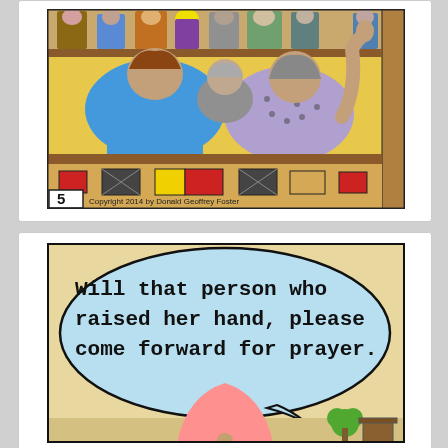[Figure (illustration): Comic panel 5 showing the backs of courtroom/congregation audience members seated in rows. A person with dark gray hair raises their hand on the right. Colorful figures in blue, orange, yellow clothing are visible. Brown wooden pews/benches. Panel number '5' in bottom left corner. Copyright 2014 by Donald Geoffrey Foster written at bottom.]
[Figure (illustration): Comic panel showing a large speech bubble over a cartoon scene. The speech bubble reads: 'Will that person who raised her hand, please come forward for prayer.' A pink-robed figure stands at bottom center (preacher), with a small green tree/plant and brown podium visible at bottom right.]